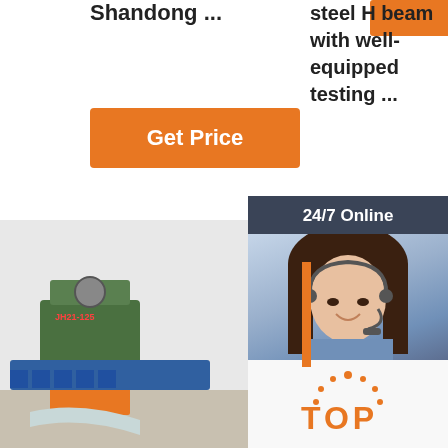Shandong ...
[Figure (other): Orange button placeholder]
steel H beam with well-equipped testing ...
[Figure (other): Get Price orange button]
[Figure (other): 24/7 Online chat widget with woman in headset, QUOTATION button]
[Figure (photo): Industrial machines JH21-125 in factory, shown twice]
[Figure (other): Steel pipes stacked on right]
[Figure (logo): TOP logo with dots in orange]